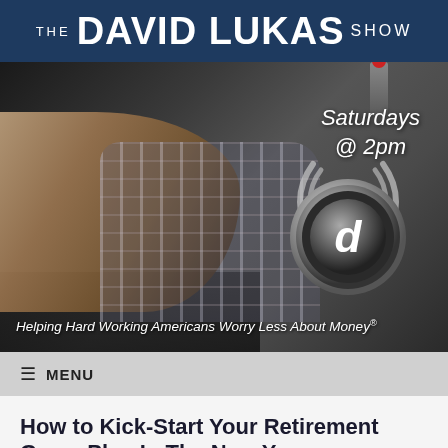THE DAVID LUKAS SHOW
[Figure (photo): Person at keyboard/mixing console with radio headphones graphic and text 'Saturdays @ 2pm', tagline 'Helping Hard Working Americans Worry Less About Money®']
≡ MENU
How to Kick-Start Your Retirement Game Plan In The New Year